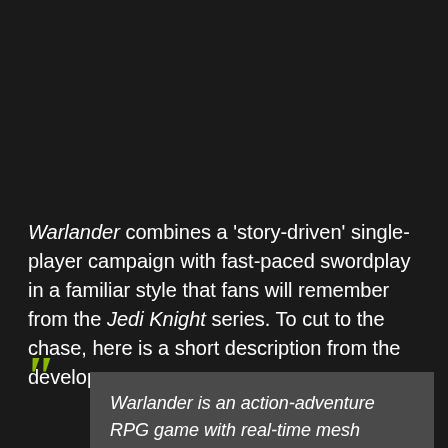Warlander combines a 'story-driven' single-player campaign with fast-paced swordplay in a familiar style that fans will remember from the Jedi Knight series. To cut to the chase, here is a short description from the developers:
Warlander is an action-adventure RPG game with real-time mesh slicing where players can cut through enemies and chop them into